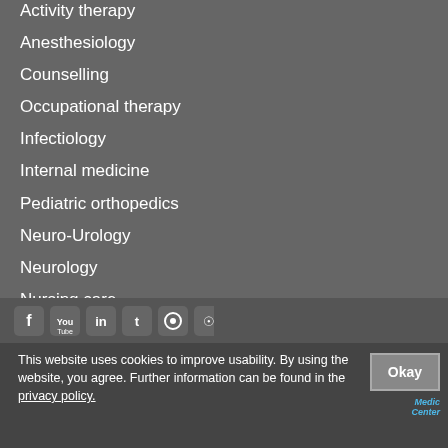Activity therapy
Anesthesiology
Counselling
Occupational therapy
Infectiology
Internal medicine
Pediatric orthopedics
Neuro-Urology
Neurology
Nursing care
Physiotherapy
Radiology
Rheumatology
[Figure (other): Social media icons: Facebook, YouTube, LinkedIn, Twitter, Instagram, RSS]
This website uses cookies to improve usability. By using the website, you agree. Further information can be found in the privacy policy.
Okay button and footer logos including Universitat, Swiss Olympic, Medical Center